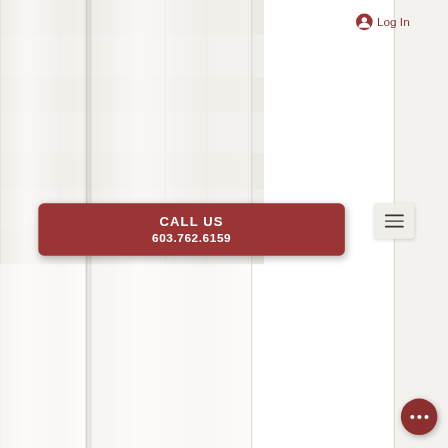[Figure (screenshot): Website navigation header screenshot showing a white painted wood plank background texture with vertical planks. Contains a Log In button with user icon in the upper right area, a dark red 'CALL US 603.762.6159' button in the middle, a hamburger menu icon button, and a dark red circular more options button in the bottom right corner.]